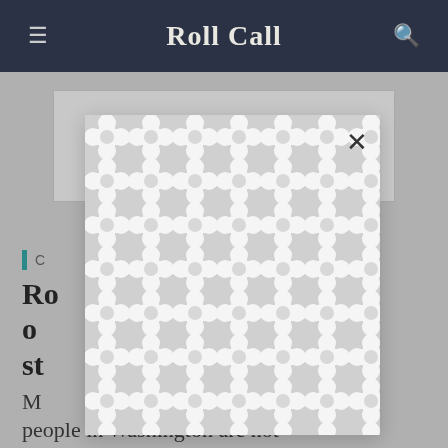Roll Call
[Figure (other): Modal/popup overlay with decorative pattern (interlocking circles/dumbbell shapes in white on light grey background), with a close button (×) in the top right corner]
C
Ro...k o...st...
M... people in Washington are not 'real people'